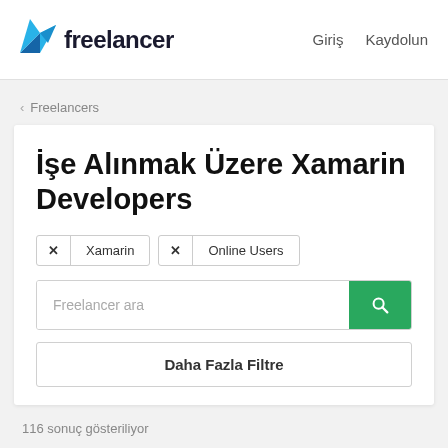[Figure (logo): Freelancer.com logo with blue origami bird and 'freelancer' text]
Giriş  Kaydolun
‹ Freelancers
İşe Alınmak Üzere Xamarin Developers
✕ Xamarin  ✕ Online Users
Freelancer ara
Daha Fazla Filtre
116 sonuç gösteriliyor